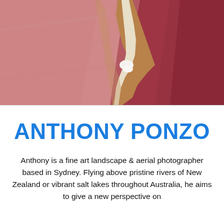[Figure (photo): Aerial photograph of pink/red salt lake with a white salt crust ridge dividing two sections — left side lighter pink, right side deeper red/maroon, with a sandy-orange shoreline edge running diagonally through the centre.]
ANTHONY PONZO
Anthony is a fine art landscape & aerial photographer based in Sydney. Flying above pristine rivers of New Zealand or vibrant salt lakes throughout Australia, he aims to give a new perspective on